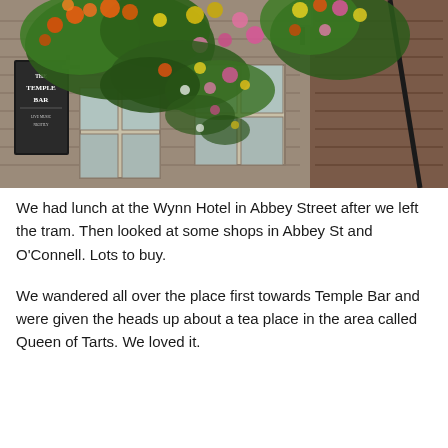[Figure (photo): Exterior of The Temple Bar pub in Dublin, showing a brick building facade with large hanging flower baskets overflowing with colorful flowers (orange, yellow, pink), a black pub sign reading 'The Temple Bar', and a gas lamp on the wall. The building has multi-pane windows and is photographed from street level looking up.]
We had lunch at the Wynn Hotel in Abbey Street after we left the tram. Then looked at some shops in Abbey St and O'Connell. Lots to buy.
We wandered all over the place first towards Temple Bar and were given the heads up about a tea place in the area called Queen of Tarts. We loved it.